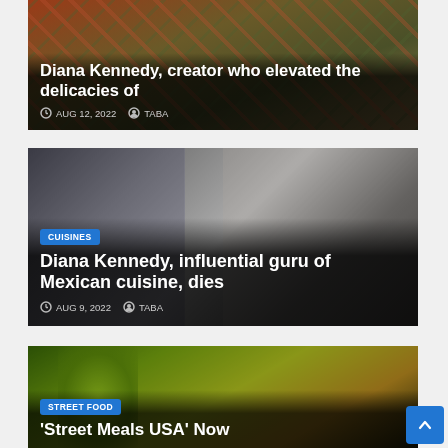[Figure (photo): Article card: market scene with people and vegetables, partial top. Title: Diana Kennedy, creator who elevated the delicacies of. Date: AUG 12, 2022. Author: TABA.]
Diana Kennedy, creator who elevated the delicacies of
AUG 12, 2022  TABA
[Figure (photo): Article card: Asian chef or cook at street food stall. Category tag: CUISINES. Title: Diana Kennedy, influential guru of Mexican cuisine, dies. Date: AUG 9, 2022. Author: TABA.]
CUISINES
Diana Kennedy, influential guru of Mexican cuisine, dies
AUG 9, 2022  TABA
[Figure (photo): Article card: colorful green carnival costume or street food display. Category tag: STREET FOOD. Title: 'Street Meals USA' Now (partially visible).]
STREET FOOD
'Street Meals USA' Now